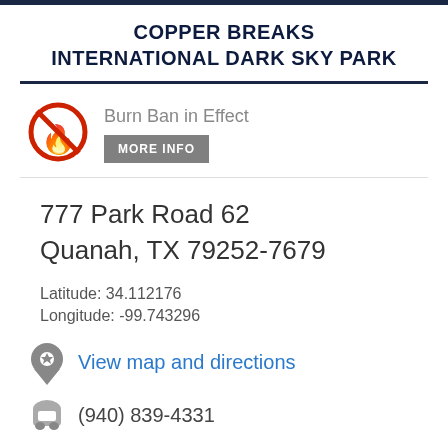COPPER BREAKS INTERNATIONAL DARK SKY PARK
[Figure (infographic): Burn ban icon: red circle with slash over orange fire flame emoji, indicating no burning allowed]
Burn Ban in Effect
MORE INFO
777 Park Road 62
Quanah, TX 79252-7679
Latitude: 34.112176
Longitude: -99.743296
View map and directions
(940) 839-4331